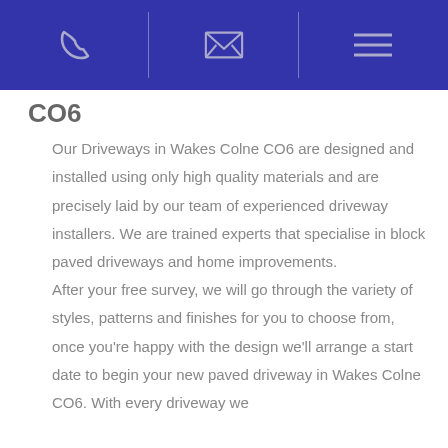[Navigation bar with phone, email, and menu icons]
CO6
Our Driveways in Wakes Colne CO6 are designed and installed using only high quality materials and are precisely laid by our team of experienced driveway installers. We are trained experts that specialise in block paved driveways and home improvements.
After your free survey, we will go through the variety of styles, patterns and finishes for you to choose from, once you're happy with the design we'll arrange a start date to begin your new paved driveway in Wakes Colne CO6. With every driveway we